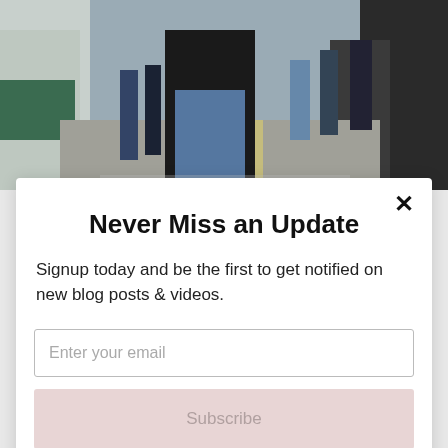[Figure (photo): Street scene photograph showing pedestrians walking along a narrow city street with buildings on both sides. A person in a black jacket and blue jeans is prominent in the foreground. Other pedestrians are visible in the background.]
Never Miss an Update
Signup today and be the first to get notified on new blog posts & videos.
Enter your email
Subscribe
powered by MailMunch